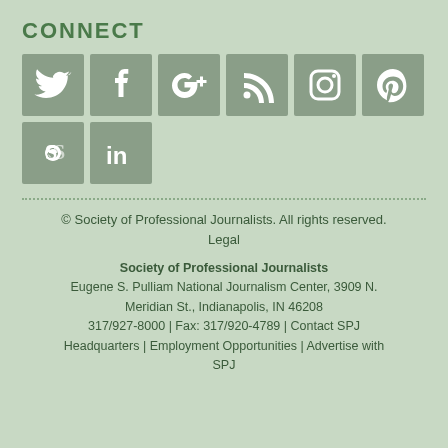CONNECT
[Figure (illustration): Social media icons: Twitter, Facebook, Google+, RSS, Instagram, Pinterest, Scribd, LinkedIn]
© Society of Professional Journalists. All rights reserved. Legal
Society of Professional Journalists
Eugene S. Pulliam National Journalism Center, 3909 N. Meridian St., Indianapolis, IN 46208
317/927-8000 | Fax: 317/920-4789 | Contact SPJ Headquarters | Employment Opportunities | Advertise with SPJ